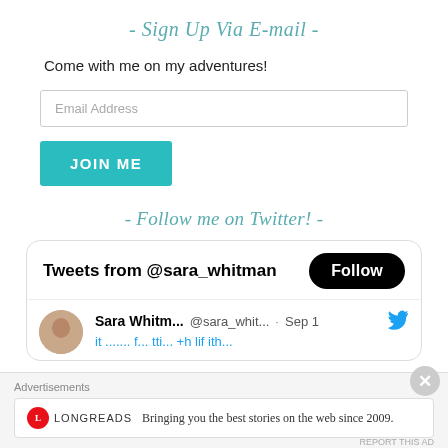- Sign Up Via E-mail -
Come with me on my adventures!
Email Address
JOIN ME
- Follow me on Twitter! -
[Figure (screenshot): Twitter widget showing tweets from @sara_whitman with a Follow button, and a tweet row with Sara Whitm... @sara_whit... Sep 1 and partial tweet text]
Advertisements
Bringing you the best stories on the web since 2009.